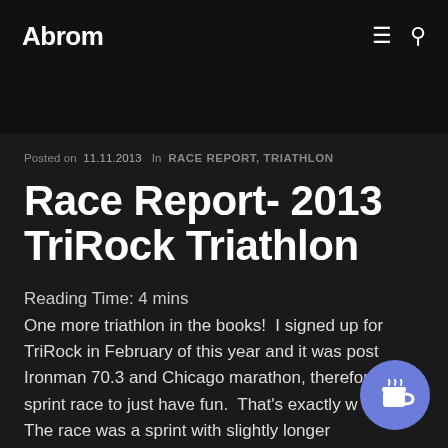Abrom
Posted on 11.11.2013  In  RACE REPORT, TRIATHLON
Race Report- 2013 TriRock Triathlon
Reading Time: 4 mins
One more triathlon in the books!  I signed up for TriRock in February of this year and it was post Ironman 70.3 and Chicago marathon, therefore nice sprint race to just have fun.  That's exactly w did!  The race was a sprint with slightly longer